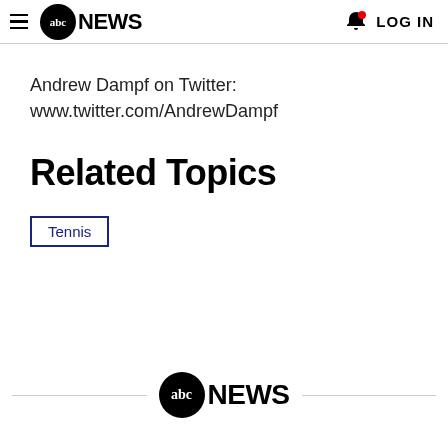abc NEWS  LOG IN
Andrew Dampf on Twitter: www.twitter.com/AndrewDampf
Related Topics
Tennis
abc NEWS